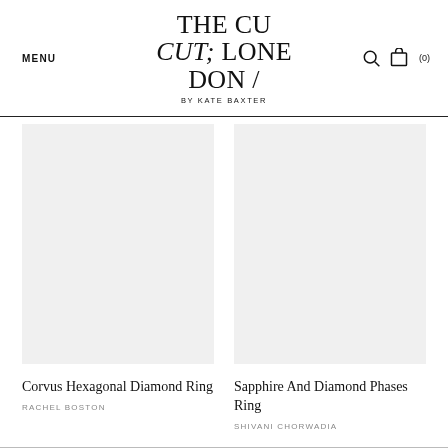MENU | THE CUT; LONDON / BY KATE BAXTER | (0)
[Figure (photo): Product image placeholder for Corvus Hexagonal Diamond Ring — light grey rectangle]
Corvus Hexagonal Diamond Ring
RACHEL BOSTON
[Figure (photo): Product image placeholder for Sapphire And Diamond Phases Ring — light grey rectangle]
Sapphire And Diamond Phases Ring
SHIVANI CHORWADIA